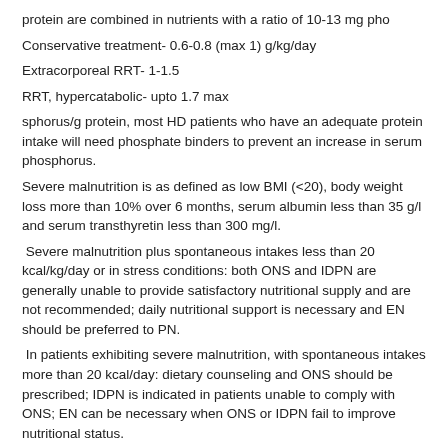protein are combined in nutrients with a ratio of 10-13 mg pho
Conservative treatment- 0.6-0.8 (max 1) g/kg/day
Extracorporeal RRT- 1-1.5
RRT, hypercatabolic- upto 1.7 max
sphorus/g protein, most HD patients who have an adequate protein intake will need phosphate binders to prevent an increase in serum phosphorus.
Severe malnutrition is as defined as low BMI (<20), body weight loss more than 10% over 6 months, serum albumin less than 35 g/l and serum transthyretin less than 300 mg/l.
Severe malnutrition plus spontaneous intakes less than 20 kcal/kg/day or in stress conditions: both ONS and IDPN are generally unable to provide satisfactory nutritional supply and are not recommended; daily nutritional support is necessary and EN should be preferred to PN.
In patients exhibiting severe malnutrition, with spontaneous intakes more than 20 kcal/day: dietary counseling and ONS should be prescribed; IDPN is indicated in patients unable to comply with ONS; EN can be necessary when ONS or IDPN fail to improve nutritional status.
IDPN- Intradialytic PN (IDPN) is a cyclic PN given (usually) three times weekly through the venous line of the dialysis circuit. The following technical